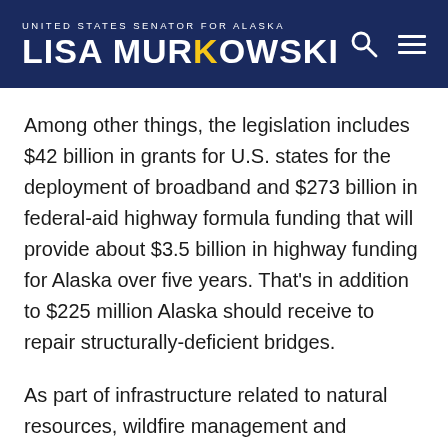UNITED STATES SENATOR FOR ALASKA — LISA MURKOWSKI
Among other things, the legislation includes $42 billion in grants for U.S. states for the deployment of broadband and $273 billion in federal-aid highway formula funding that will provide about $3.5 billion in highway funding for Alaska over five years. That's in addition to $225 million Alaska should receive to repair structurally-deficient bridges.
As part of infrastructure related to natural resources, wildfire management and ecosystem restoration, the legislation includes $3.3 billion. That is meant to be